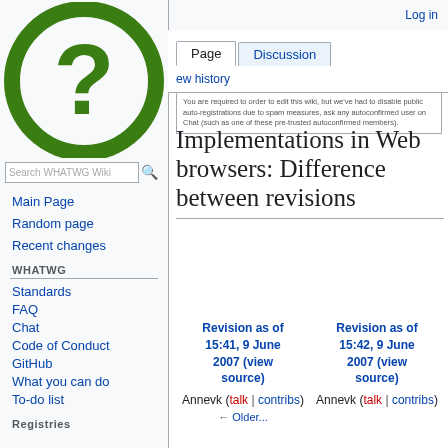Log in
[Figure (logo): WHATWG wiki green question mark logo]
Page | Discussion | view history
You are required to order to edit this wiki, but we've had to disable public auto-registrations due to spam measures, ask any autoconfirmed user on Chat (such as one of these pre-trusted autoconfirmed members).
Implementations in Web browsers: Difference between revisions
Main Page
Random page
Recent changes
WHATWG
Standards
FAQ
Chat
Code of Conduct
GitHub
What you can do
To-do list
Registries
| Revision as of 15:41, 9 June 2007 (view source) | Revision as of 15:42, 9 June 2007 (view source) |
| --- | --- |
| Annevk (talk | contribs) | Annevk (talk | contribs) |